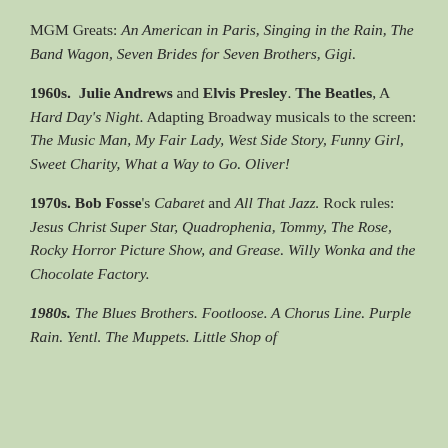MGM Greats: An American in Paris, Singing in the Rain, The Band Wagon, Seven Brides for Seven Brothers, Gigi.
1960s. Julie Andrews and Elvis Presley. The Beatles, A Hard Day's Night. Adapting Broadway musicals to the screen: The Music Man, My Fair Lady, West Side Story, Funny Girl, Sweet Charity, What a Way to Go. Oliver!
1970s. Bob Fosse's Cabaret and All That Jazz. Rock rules: Jesus Christ Super Star, Quadrophenia, Tommy, The Rose, Rocky Horror Picture Show, and Grease. Willy Wonka and the Chocolate Factory.
1980s. The Blues Brothers. Footloose. A Chorus Line. Purple Rain. Yentl. The Muppets. Little Shop of